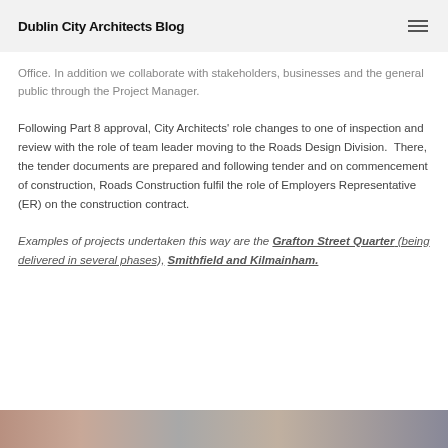Dublin City Architects Blog
Office. In addition we collaborate with stakeholders, businesses and the general public through the Project Manager.
Following Part 8 approval, City Architects' role changes to one of inspection and review with the role of team leader moving to the Roads Design Division. There, the tender documents are prepared and following tender and on commencement of construction, Roads Construction fulfil the role of Employers Representative (ER) on the construction contract.
Examples of projects undertaken this way are the Grafton Street Quarter (being delivered in several phases), Smithfield and Kilmainham.
[Figure (photo): Partial view of a photo strip at the bottom of the page showing street or architectural imagery in muted tones.]